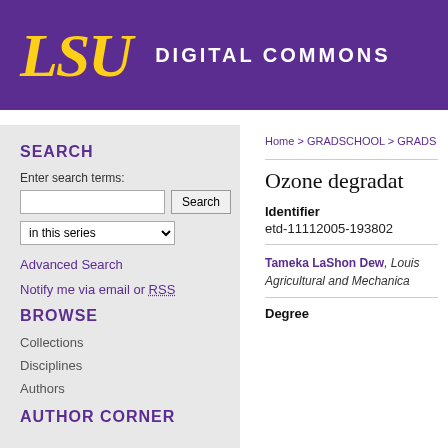[Figure (logo): LSU Digital Commons header with purple background, yellow LSU logo and white DIGITAL COMMONS text]
SEARCH
Enter search terms:
BROWSE
Collections
Disciplines
Authors
AUTHOR CORNER
Home > GRADSCHOOL > GRADS
Ozone degradat
Identifier
etd-11112005-193802
Tameka LaShon Dew, Louis Agricultural and Mechanica
Degree